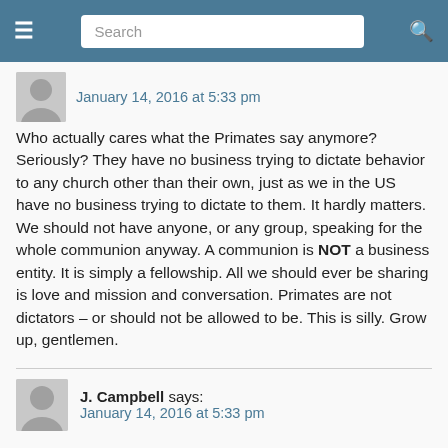Search
January 14, 2016 at 5:33 pm
Who actually cares what the Primates say anymore? Seriously? They have no business trying to dictate behavior to any church other than their own, just as we in the US have no business trying to dictate to them. It hardly matters. We should not have anyone, or any group, speaking for the whole communion anyway. A communion is NOT a business entity. It is simply a fellowship. All we should ever be sharing is love and mission and conversation. Primates are not dictators – or should not be allowed to be. This is silly. Grow up, gentlemen.
J. Campbell says:
January 14, 2016 at 5:33 pm